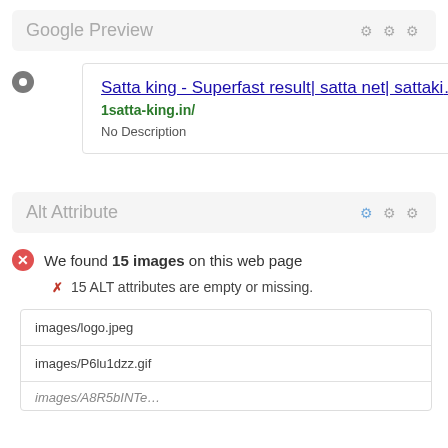Google Preview
[Figure (screenshot): Google search result preview card showing title link 'Satta king - Superfast result| satta net| sattaki…', URL '1satta-king.in/', and 'No Description']
Alt Attribute
We found 15 images on this web page
✗ 15 ALT attributes are empty or missing.
| images/logo.jpeg |
| images/P6lu1dzz.gif |
| images/A8R5bINTe.gif |